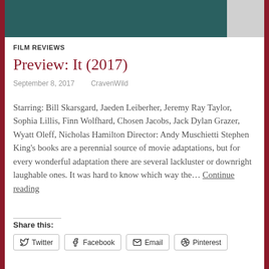[Figure (photo): Top portion of a movie image, partially cut off, showing dark teal/green tones, with a gray area to the right]
FILM REVIEWS
Preview: It (2017)
September 8, 2017   CravenWild
Starring: Bill Skarsgard, Jaeden Leiberher, Jeremy Ray Taylor, Sophia Lillis, Finn Wolfhard, Chosen Jacobs, Jack Dylan Grazer, Wyatt Oleff, Nicholas Hamilton Director: Andy Muschietti Stephen King's books are a perennial source of movie adaptations, but for every wonderful adaptation there are several lackluster or downright laughable ones. It was hard to know which way the… Continue reading
Share this:
Twitter  Facebook  Email  Pinterest